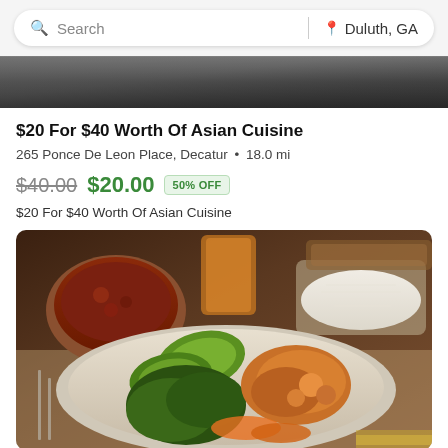Search | Duluth, GA
[Figure (photo): Dark background image strip at top of listing]
$20 For $40 Worth Of Asian Cuisine
265 Ponce De Leon Place, Decatur • 18.0 mi
$40.00  $20.00  50% OFF
$20 For $40 Worth Of Asian Cuisine
[Figure (photo): Food photo showing a plate with mixed Asian cuisine including vegetables, chicken tikka, and sides with rice and a bowl of curry]